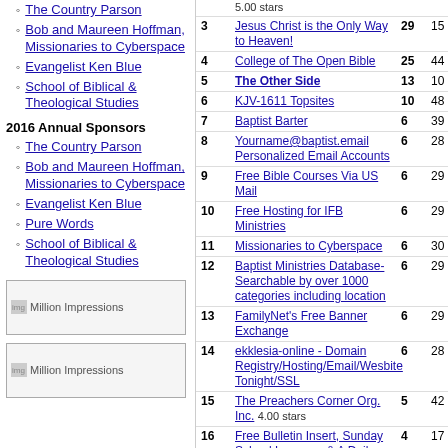The Country Parson
Bob and Maureen Hoffman, Missionaries to Cyberspace
Evangelist Ken Blue
School of Biblical & Theological Studies
2016 Annual Sponsors
The Country Parson
Bob and Maureen Hoffman, Missionaries to Cyberspace
Evangelist Ken Blue
Pure Words
School of Biblical & Theological Studies
[Figure (other): Million Impressions banner ad image]
[Figure (other): Million Impressions banner ad image]
| # | Name | In | Out |
| --- | --- | --- | --- |
|  | 5.00 stars |  |  |
| 3 | Jesus Christ is the Only Way to Heaven! | 29 | 15 |
| 4 | College of The Open Bible | 25 | 44 |
| 5 | The Other Side | 13 | 10 |
| 6 | KJV-1611 Topsites | 10 | 48 |
| 7 | Baptist Barter | 6 | 39 |
| 8 | Yourname@baptist.email Personalized Email Accounts | 6 | 28 |
| 9 | Free Bible Courses Via US Mail | 6 | 29 |
| 10 | Free Hosting for IFB Ministries | 6 | 29 |
| 11 | Missionaries to Cyberspace | 6 | 30 |
| 12 | Baptist Ministries Database- Searchable by over 1000 categories including location | 6 | 29 |
| 13 | FamilyNet's Free Banner Exchange | 6 | 29 |
| 14 | ekklesia-online - Domain Registry/Hosting/Email/Wesbite Tonight/SSL | 6 | 28 |
| 15 | The Preachers Corner Org. Inc. 4.00 stars | 5 | 42 |
| 16 | Free Bulletin Insert, Sunday School Lessons, & A Daily Commentary Devotion (KJV) | 4 | 17 |
| 17 | The U.S.Bible Society | 3 | 17 |
| 18 | Bible Truth | 3 | 25 |
| 19 | Late Night Live With Pastor Al | 2 | 9 |
| 20 | Soulwinning.info | 2 | 53 |
| 21 | Faith Bible Baptist Church... | 2 | 28 |